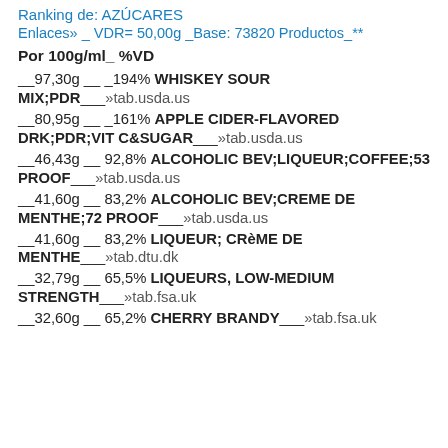Ranking de: AZÚCARES
Enlaces» _ VDR= 50,00g _Base: 73820 Productos_**
Por 100g/ml_ %VD
__97,30g __ _194% WHISKEY SOUR MIX;PDR___»tab.usda.us
__80,95g __ _161% APPLE CIDER-FLAVORED DRK;PDR;VIT C&SUGAR___»tab.usda.us
__46,43g __ 92,8% ALCOHOLIC BEV;LIQUEUR;COFFEE;53 PROOF___»tab.usda.us
__41,60g __ 83,2% ALCOHOLIC BEV;CREME DE MENTHE;72 PROOF___»tab.usda.us
__41,60g __ 83,2% LIQUEUR; CRèME DE MENTHE___»tab.dtu.dk
__32,79g __ 65,5% LIQUEURS, LOW-MEDIUM STRENGTH___»tab.fsa.uk
__32,60g __ 65,2% CHERRY BRANDY___»tab.fsa.uk